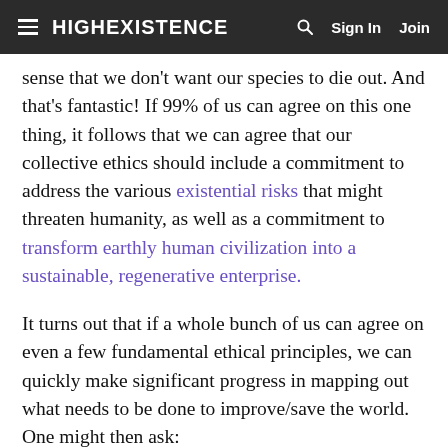HIGHEXISTENCE | Sign In | Join
sense that we don't want our species to die out. And that's fantastic! If 99% of us can agree on this one thing, it follows that we can agree that our collective ethics should include a commitment to address the various existential risks that might threaten humanity, as well as a commitment to transform earthly human civilization into a sustainable, regenerative enterprise.
It turns out that if a whole bunch of us can agree on even a few fundamental ethical principles, we can quickly make significant progress in mapping out what needs to be done to improve/save the world. One might then ask:
Is there some entity that can help a whole bunch of